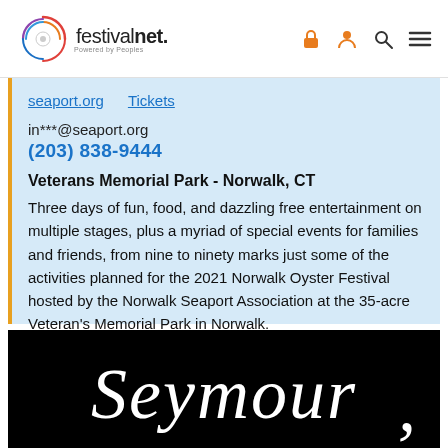festivalnet. Powered by Peoples — navigation icons: lock, person, search, menu
seaport.org   Tickets
in***@seaport.org
(203) 838-9444
Veterans Memorial Park - Norwalk, CT
Three days of fun, food, and dazzling free entertainment on multiple stages, plus a myriad of special events for families and friends, from nine to ninety marks just some of the activities planned for the 2021 Norwalk Oyster Festival hosted by the Norwalk Seaport Association at the 35-acre Veteran's Memorial Park in Norwalk.
[Figure (photo): Black background image with cursive white text reading 'Seymour' (partially visible, cut off at bottom)]